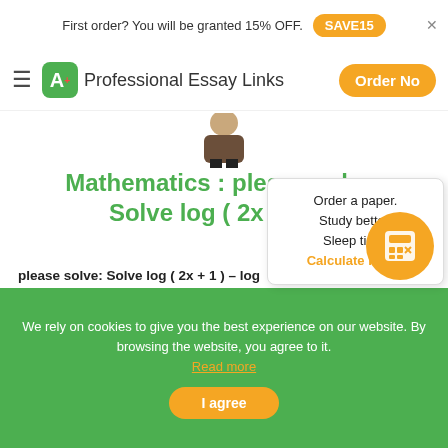First order? You will be granted 15% OFF. SAVE15
Professional Essay Links | Order Now
[Figure (illustration): Partial illustration of a person at the top center of the content area]
Mathematics : please solve: Solve log ( 2x + 1 )...
please solve: Solve log ( 2x + 1 ) – log 6 = 2 for x. Please explain how you arrived at your answer. Thanks!...
Order a paper. Study better. Sleep tight. Calculate Price!
We rely on cookies to give you the best experience on our website. By browsing the website, you agree to it. Read more
I agree